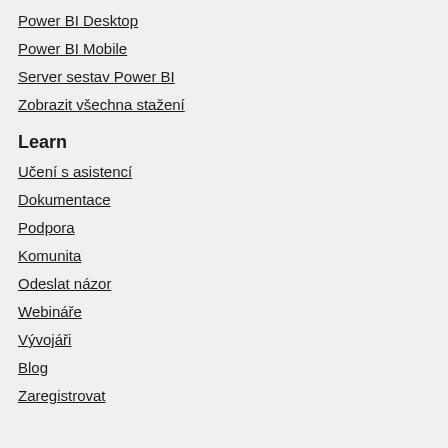Power BI Desktop
Power BI Mobile
Server sestav Power BI
Zobrazit všechna stažení
Learn
Učení s asistencí
Dokumentace
Podpora
Komunita
Odeslat názor
Webináře
Vývojáři
Blog
Zaregistrovat